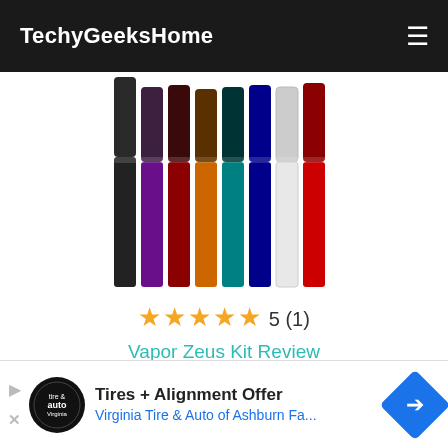TechyGeeksHome
[Figure (photo): Multiple vape pen/e-cigarette devices in various colors (black, purple, maroon, orange, teal, blue, white, red) standing upright against white background]
★★★★★ 5 (1)
Vapor Zeus Kit Review from Vapor4Life.com
[Figure (photo): Clipboard with paper and earbuds next to a laptop keyboard on a marble surface]
Tires + Alignment Offer Virginia Tire & Auto of Ashburn Fa...